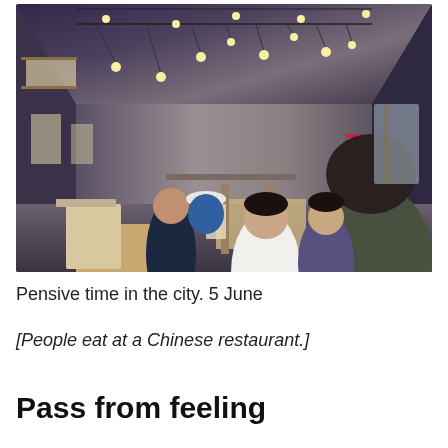[Figure (photo): Interior of a Chinese restaurant. People are seated at white wooden tables eating. String lights hang from the ceiling. A red decorative Chinese knot hangs on the right wall. Windows with wooden frames are visible on both sides.]
Pensive time in the city. 5 June
[People eat at a Chinese restaurant.]
Pass from feeling